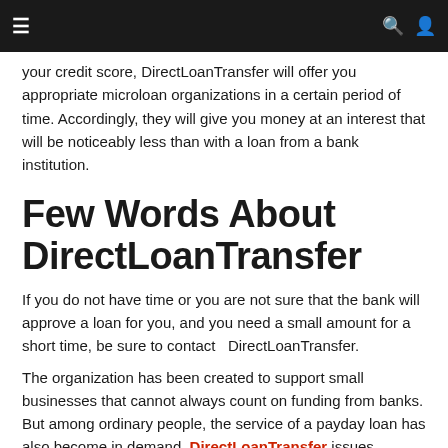≡  [navigation bar with search and user icons]
your credit score, DirectLoanTransfer will offer you appropriate microloan organizations in a certain period of time. Accordingly, they will give you money at an interest that will be noticeably less than with a loan from a bank institution.
Few Words About DirectLoanTransfer
If you do not have time or you are not sure that the bank will approve a loan for you, and you need a small amount for a short time, be sure to contact  DirectLoanTransfer.
The organization has been created to support small businesses that cannot always count on funding from banks. But among ordinary people, the service of a payday loan has also become in demand. DirectLoanTransfer issues consumer loans and payday loans. The percentage of DirectLoanTransfer microloans